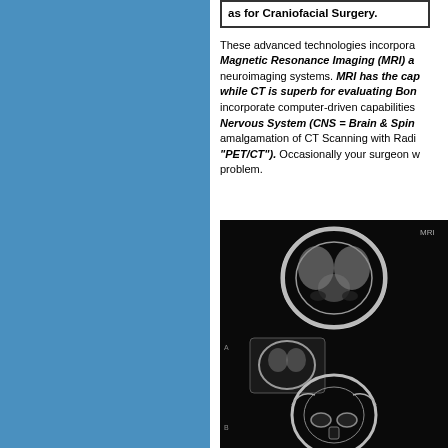as for Craniofacial Surgery.
These advanced technologies incorporate Magnetic Resonance Imaging (MRI) and neuroimaging systems. MRI has the capability while CT is superb for evaluating Bone incorporate computer-driven capabilities Nervous System (CNS = Brain & Spine) amalgamation of CT Scanning with Radionuclide "PET/CT"). Occasionally your surgeon will problem.
[Figure (photo): Black and white medical scan images showing brain/skull MRI or CT scans]